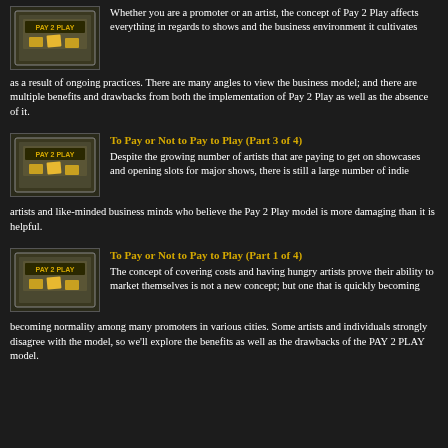Whether you are a promoter or an artist, the concept of Pay 2 Play affects everything in regards to shows and the business environment it cultivates as a result of ongoing practices. There are many angles to view the business model; and there are multiple benefits and drawbacks from both the implementation of Pay 2 Play as well as the absence of it.
To Pay or Not to Pay to Play (Part 3 of 4)
Despite the growing number of artists that are paying to get on showcases and opening slots for major shows, there is still a large number of indie artists and like-minded business minds who believe the Pay 2 Play model is more damaging than it is helpful.
To Pay or Not to Pay to Play (Part 1 of 4)
The concept of covering costs and having hungry artists prove their ability to market themselves is not a new concept; but one that is quickly becoming normality among many promoters in various cities. Some artists and individuals strongly disagree with the model, so we'll explore the benefits as well as the drawbacks of the PAY 2 PLAY model.